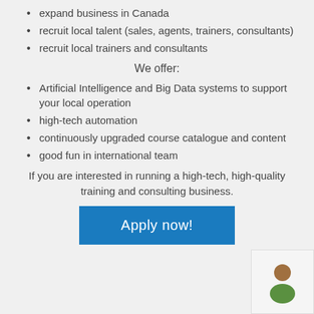expand business in Canada
recruit local talent (sales, agents, trainers, consultants)
recruit local trainers and consultants
We offer:
Artificial Intelligence and Big Data systems to support your local operation
high-tech automation
continuously upgraded course catalogue and content
good fun in international team
If you are interested in running a high-tech, high-quality training and consulting business.
[Figure (other): Apply now button with blue background and white text]
[Figure (illustration): Person avatar icon with brown head and green body]